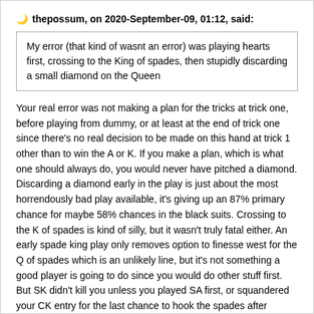thepossum, on 2020-September-09, 01:12, said:
My error (that kind of wasnt an error) was playing hearts first, crossing to the King of spades, then stupidly discarding a small diamond on the Queen
Your real error was not making a plan for the tricks at trick one, before playing from dummy, or at least at the end of trick one since there's no real decision to be made on this hand at trick 1 other than to win the A or K. If you make a plan, which is what one should always do, you would never have pitched a diamond. Discarding a diamond early in the play is just about the most horrendously bad play available, it's giving up an 87% primary chance for maybe 58% chances in the black suits. Crossing to the K of spades is kind of silly, but it wasn't truly fatal either. An early spade king play only removes option to finesse west for the Q of spades which is an unlikely line, but it's not something a good player is going to do since you would do other stuff first. But SK didn't kill you unless you played SA first, or squandered your CK entry for the last chance to hook the spades after testing diamonds.